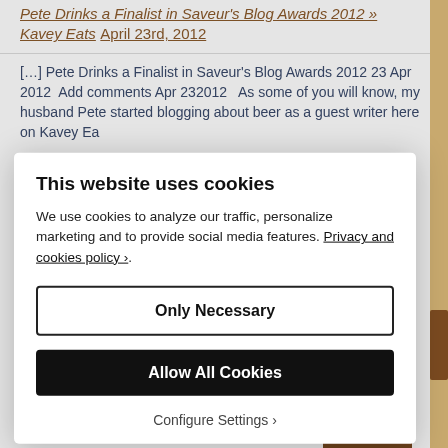Pete Drinks a Finalist in Saveur's Blog Awards 2012 » Kavey Eats April 23rd, 2012
[…] Pete Drinks a Finalist in Saveur's Blog Awards 2012 23 Apr 2012  Add comments Apr 232012   As some of you will know, my husband Pete started blogging about beer as a guest writer here on Kavey Ea… at it D… Be…
[Figure (screenshot): Cookie consent modal dialog with title 'This website uses cookies', body text about cookies policy with a link, and three buttons: 'Only Necessary', 'Allow All Cookies', and 'Configure Settings ›'.]
[… sh…
Reply